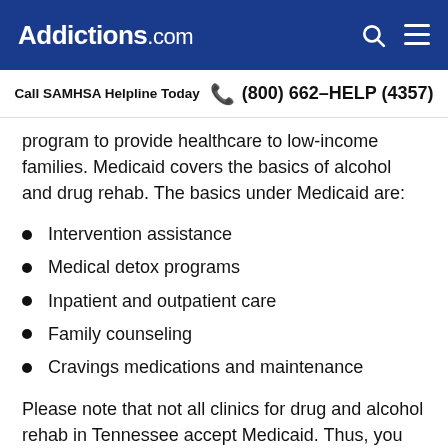Addictions.com
Call SAMHSA Helpline Today  (800) 662-HELP (4357)
program to provide healthcare to low-income families. Medicaid covers the basics of alcohol and drug rehab. The basics under Medicaid are:
Intervention assistance
Medical detox programs
Inpatient and outpatient care
Family counseling
Cravings medications and maintenance
Please note that not all clinics for drug and alcohol rehab in Tennessee accept Medicaid. Thus, you should verify with your rehab facility of choice before